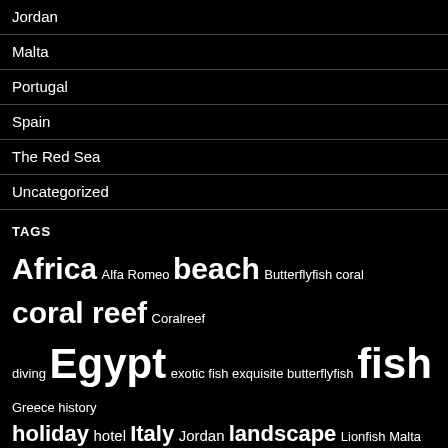Jordan
Malta
Portugal
Spain
The Red Sea
Uncategorized
TAGS
Africa Alfa Romeo beach Butterflyfish coral coral reef Coralreef diving Egypt exotic fish exquisite butterflyfish fish Greece history holiday hotel Italy Jordan landscape Lionfish Malta Marsa Alam Nature Oberoi ocean pool Port Ghalib Red Sea Sabaudia Sahl Hasheesh sea seascape snorkelling Tala Bay the Mediterranean